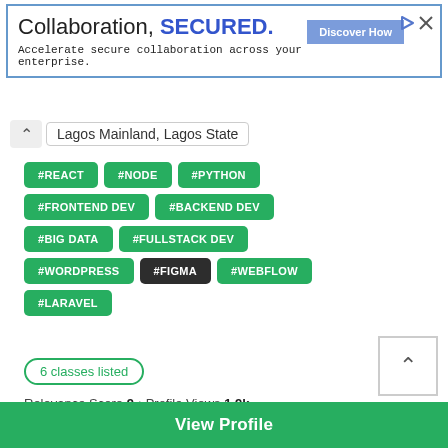[Figure (screenshot): Advertisement banner: 'Collaboration, SECURED.' with subtitle 'Accelerate secure collaboration across your enterprise.' and a 'Discover How' button]
Lagos Mainland, Lagos State
#REACT #NODE #PYTHON #FRONTEND DEV #BACKEND DEV #BIG DATA #FULLSTACK DEV #WORDPRESS #FIGMA #WEBFLOW #LARAVEL
6 classes listed
Relevance Score 9 • Profile Views 1.9k
Classes from
N300,000.00
N300,000.00
View Profile